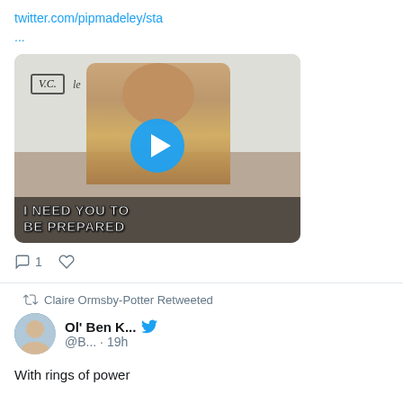twitter.com/pipmadeley/sta
...
[Figure (screenshot): Video thumbnail showing a man in a colorful shirt in front of a whiteboard with 'V.C.' written on it. A blue play button is overlaid. Caption text reads 'I NEED YOU TO BE PREPARED']
1 (comment icon) (heart icon)
Claire Ormsby-Potter Retweeted
Ol' Ben K... @B... · 19h
With rings of power